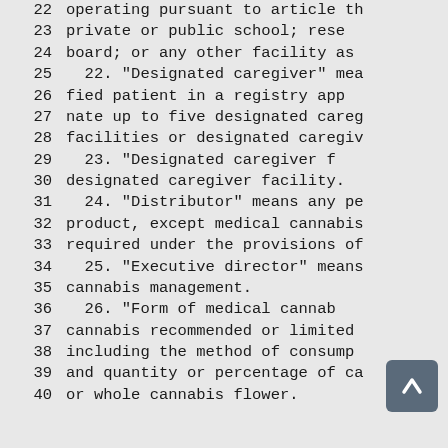22   operating pursuant to article th
23   private  or  public school; rese
24   board; or any other facility as
25     22. "Designated caregiver" mea
26   fied  patient  in a registry app
27   nate up to five designated careg
28   facilities or designated caregiv
29     23.  "Designated  caregiver  f
30   designated caregiver facility.
31     24. "Distributor" means any pe
32   product, except medical cannabis
33   required under the provisions of
34     25. "Executive director" means
35   cannabis management.
36     26.  "Form  of  medical  cannab
37   cannabis recommended or limited
38   including  the method of consump
39   and quantity or percentage of ca
40   or whole cannabis flower.